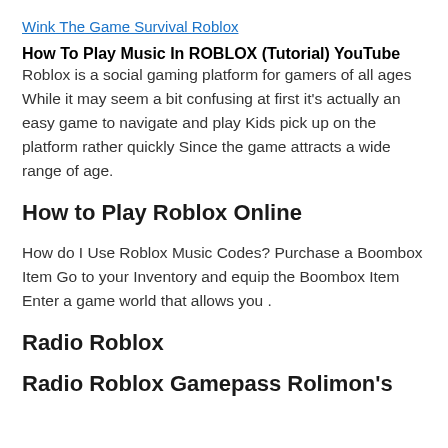Wink The Game Survival Roblox
How To Play Music In ROBLOX (Tutorial) YouTube
Roblox is a social gaming platform for gamers of all ages While it may seem a bit confusing at first it's actually an easy game to navigate and play Kids pick up on the platform rather quickly Since the game attracts a wide range of age.
How to Play Roblox Online
How do I Use Roblox Music Codes? Purchase a Boombox Item Go to your Inventory and equip the Boombox Item Enter a game world that allows you .
Radio Roblox
Radio Roblox Gamepass Rolimon's